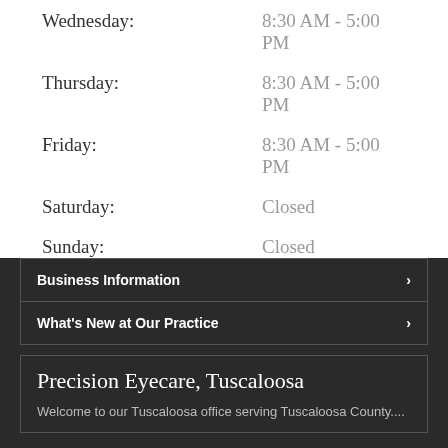Wednesday: 8:30 AM - 5:00 PM
Thursday: 8:30 AM - 5:00 PM
Friday: 8:30 AM - 5:00 PM
Saturday: Closed
Sunday: Closed
Business Information
What's New at Our Practice
Precision Eyecare, Tuscaloosa
Welcome to our Tuscaloosa office serving Tuscaloosa County....